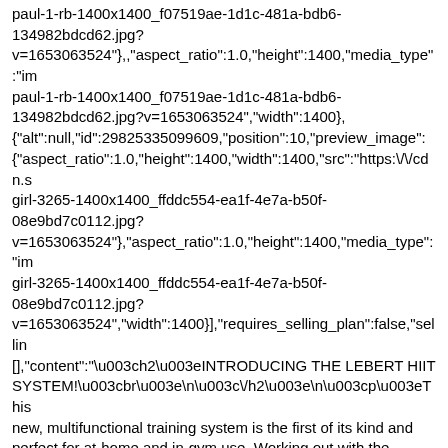paul-1-rb-1400x1400_f07519ae-1d1c-481a-bdb6-134982bdcd62.jpg?v=1653063524"},"aspect_ratio":1.0,"height":1400,"media_type":"im paul-1-rb-1400x1400_f07519ae-1d1c-481a-bdb6-134982bdcd62.jpg?v=1653063524","width":1400}, {"alt":null,"id":29825335099609,"position":10,"preview_image": {"aspect_ratio":1.0,"height":1400,"width":1400,"src":"https:\/\/cdn.s girl-3265-1400x1400_ffddc554-ea1f-4e7a-b50f-08e9bd7c0112.jpg?v=1653063524"},"aspect_ratio":1.0,"height":1400,"media_type":"im girl-3265-1400x1400_ffddc554-ea1f-4e7a-b50f-08e9bd7c0112.jpg?v=1653063524","width":1400}],"requires_selling_plan":false,"sellin [],"content":"\u003ch2\u003eINTRODUCING THE LEBERT HIIT SYSTEM!\u003cbr\u003e\n\u003c\/h2\u003e\n\u003cp\u003eThis new, multifunctional training system is the first of its kind and perfect for at-home and in-gym use. Working out with the Lebert HIIT System can help you boost your metabolism, get stronger and improve your V02 max.\u003c\/p\u003e\n\u003cp\u003eThis brand-new, multifunctional training system is the first of its kind and perfect for at-home and in-gym use. The ability to incorporate dynamic unilateral, rotational, and bilateral strength-building movements makes it the most effective high-intensity trainer ever —perfect for beginner and hardcore athletes.